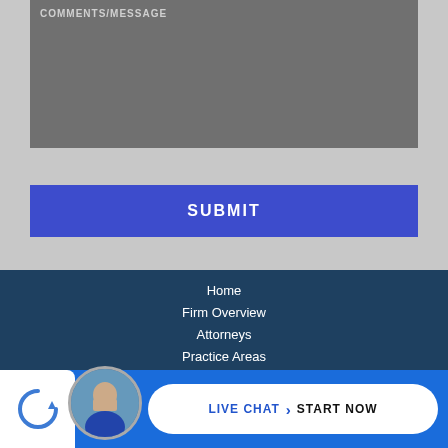COMMENTS/MESSAGE
[Figure (other): Grey textarea input box for comments/message]
SUBMIT
Home
Firm Overview
Attorneys
Practice Areas
Asbestos Links
Videos
Blog
[Figure (other): Live chat widget with attorney photo and LIVE CHAT > START NOW button]